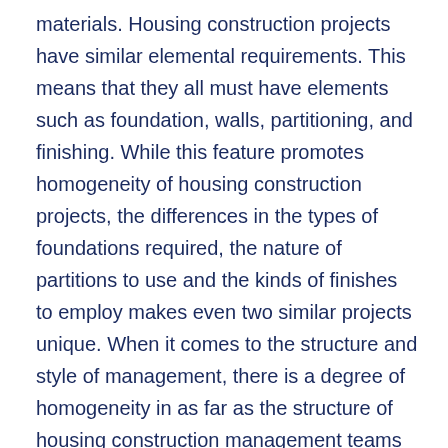materials. Housing construction projects have similar elemental requirements. This means that they all must have elements such as foundation, walls, partitioning, and finishing. While this feature promotes homogeneity of housing construction projects, the differences in the types of foundations required, the nature of partitions to use and the kinds of finishes to employ makes even two similar projects unique. When it comes to the structure and style of management, there is a degree of homogeneity in as far as the structure of housing construction management teams are concerned. However, personality differences and leadership styles of different managers negate this advantage in the system. In addition, the unique project environment each project has necessitates additional layers of management, or does away with them. Finally, the varying site conditions make the project portray unique characteristics that add to their risk. Two similar housing units employing the same construction methods could turn out to be two entirely